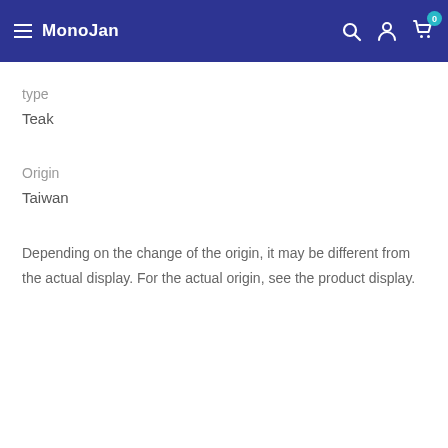MonoJan
type
Teak
Origin
Taiwan
Depending on the change of the origin, it may be different from the actual display. For the actual origin, see the product display.